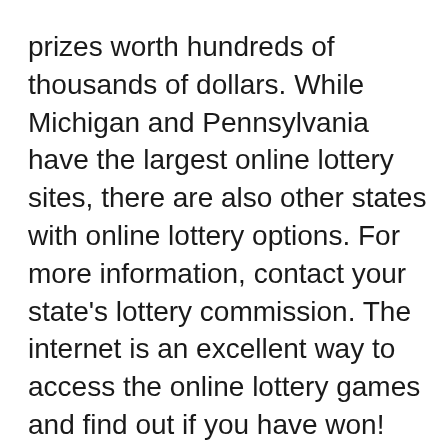prizes worth hundreds of thousands of dollars. While Michigan and Pennsylvania have the largest online lottery sites, there are also other states with online lottery options. For more information, contact your state's lottery commission. The internet is an excellent way to access the online lottery games and find out if you have won!
As of 2011, seven US jurisdictions sell lottery tickets online. Eight jurisdictions operated online lottery programs as recently as 2015 (Minnesota ended its online lottery